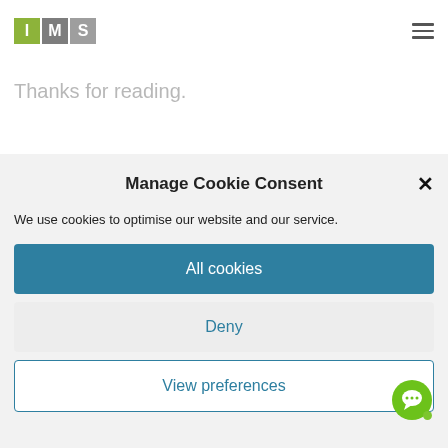[Figure (logo): IMS logo with three colored squares: green I, grey M, lighter grey S]
Thanks for reading.
Manage Cookie Consent
We use cookies to optimise our website and our service.
All cookies
Deny
View preferences